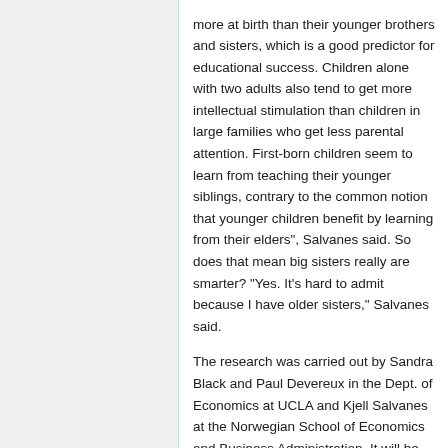more at birth than their younger brothers and sisters, which is a good predictor for educational success. Children alone with two adults also tend to get more intellectual stimulation than children in large families who get less parental attention. First-born children seem to learn from teaching their younger siblings, contrary to the common notion that younger children benefit by learning from their elders", Salvanes said. So does that mean big sisters really are smarter? "Yes. It's hard to admit because I have older sisters," Salvanes said.
The research was carried out by Sandra Black and Paul Devereux in the Dept. of Economics at UCLA and Kjell Salvanes at the Norwegian School of Economics and Business Administration. It will be presented at the 2005 World Congress